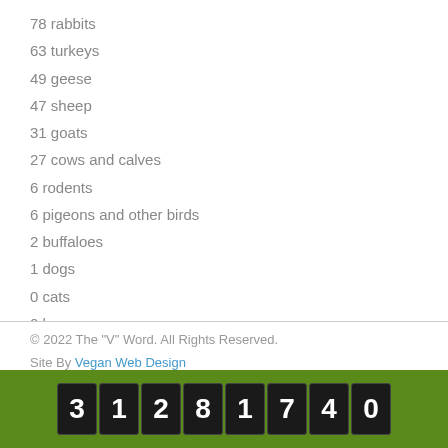78 rabbits
63 turkeys
49 geese
47 sheep
31 goats
27 cows and calves
6 rodents
6 pigeons and other birds
2 buffaloes
1 dogs
0 cats
0 horses
0 donkeys and mules
0 camels and other camelids
© 2022 The "V" Word. All Rights Reserved.
Site By Vegan Web Design
[Figure (other): Green bar with digital counter display showing the number 31281740]